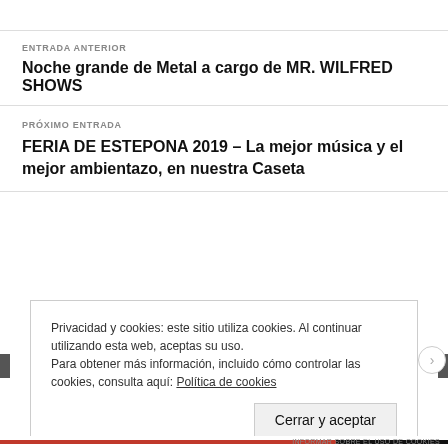ENTRADA ANTERIOR
Noche grande de Metal a cargo de MR. WILFRED SHOWS
PRÓXIMO ENTRADA
FERIA DE ESTEPONA 2019 – La mejor música y el mejor ambientazo, en nuestra Caseta
Privacidad y cookies: este sitio utiliza cookies. Al continuar utilizando esta web, aceptas su uso.
Para obtener más información, incluido cómo controlar las cookies, consulta aquí: Política de cookies
Cerrar y aceptar